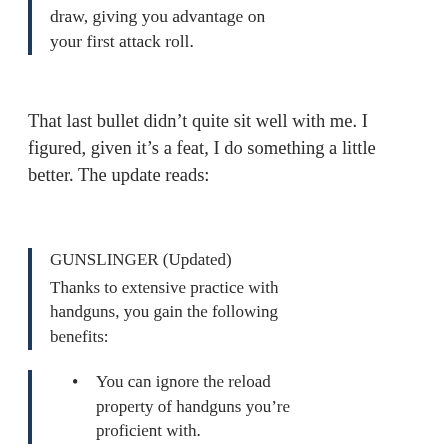draw, giving you advantage on your first attack roll.
That last bullet didn’t quite sit well with me. I figured, given it’s a feat, I do something a little better. The update reads:
GUNSLINGER (Updated)
Thanks to extensive practice with handguns, you gain the following benefits:
You can ignore the reload property of handguns you’re proficient with.